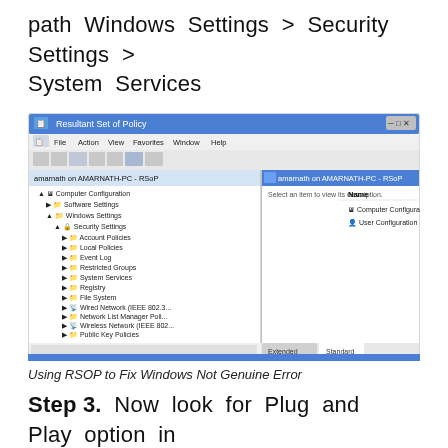path Windows Settings > Security Settings > System Services
[Figure (screenshot): Screenshot of Resultant Set of Policy window showing Computer Configuration > Windows Settings > Security Settings tree expanded, with System Services visible in the left panel. Right panel shows Computer Configuration and User Configuration items.]
Using RSOP to Fix Windows Not Genuine Error
Step 3. Now look for Plug and Play option in